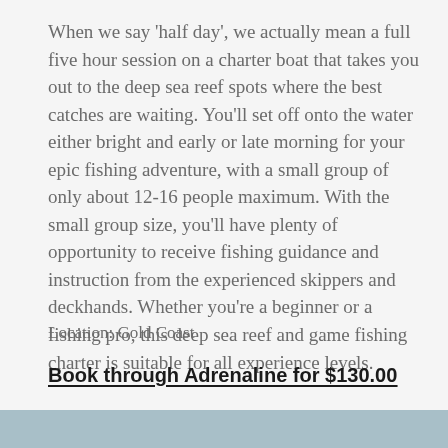When we say 'half day', we actually mean a full five hour session on a charter boat that takes you out to the deep sea reef spots where the best catches are waiting. You'll set off onto the water either bright and early or late morning for your epic fishing adventure, with a small group of only about 12-16 people maximum. With the small group size, you'll have plenty of opportunity to receive fishing guidance and instruction from the experienced skippers and deckhands. Whether you're a beginner or a fishing pro, this deep sea reef and game fishing charter is suitable for all experience levels.
Location: Gold Coast
Book through Adrenaline for $130.00
[Figure (photo): Partial view of a outdoor/water scene photo strip at the bottom of the page]